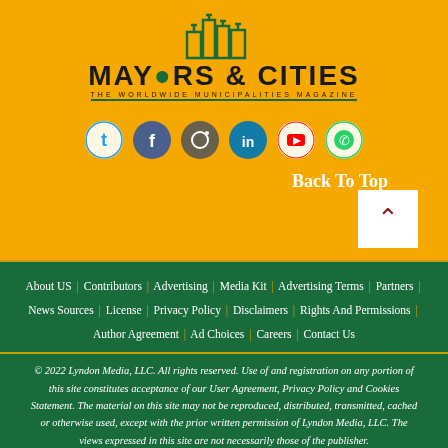[Figure (logo): Mayors & Cities magazine logo with building silhouette icon, orange background, tagline THE WORLDWIDE MUNICIPALITIES MAGAZINE]
[Figure (illustration): Row of social media icons: Twitter, Facebook, Instagram, LinkedIn, YouTube, WhatsApp — circular icons on orange background]
Back To Top
About US | Contributors | Advertising | Media Kit | Advertising Terms | Partners | News Sources | License | Privacy Policy | Disclaimers | Rights And Permissions | Author Agreement | Ad Choices | Careers | Contact Us
© 2022 Lyndon Media, LLC. All rights reserved. Use of and registration on any portion of this site constitutes acceptance of our User Agreement, Privacy Policy and Cookies Statement. The material on this site may not be reproduced, distributed, transmitted, cached or otherwise used, except with the prior written permission of Lyndon Media, LLC. The views expressed in this site are not necessarily those of the publisher.
LYNDON MEDIA, LLC | PO. BOX 34392 | WASHINGTON, DC 20043